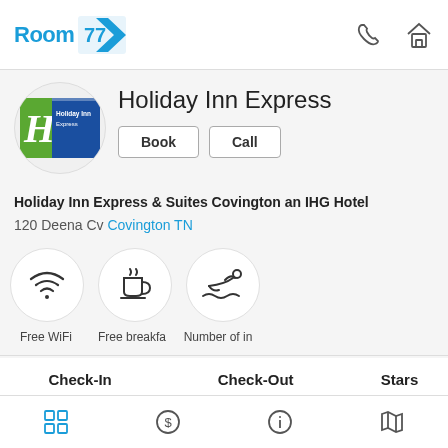[Figure (logo): Room 77 app logo with blue text and blue arrow icon]
[Figure (logo): Holiday Inn Express hotel logo in green and blue circle]
Holiday Inn Express
Book | Call
Holiday Inn Express & Suites Covington an IHG Hotel
120 Deena Cv Covington TN
[Figure (infographic): Three amenity icons: Free WiFi (wifi symbol), Free breakfast (coffee cup), Number of indoor pools (swimmer)]
Free WiFi   Free breakfa   Number of in
| Check-In | Check-Out | Stars |
| --- | --- | --- |
| 3:00 PM | 11:00 AM | 2 |
[Figure (infographic): Bottom navigation bar icons: grid, dollar sign, info, map]